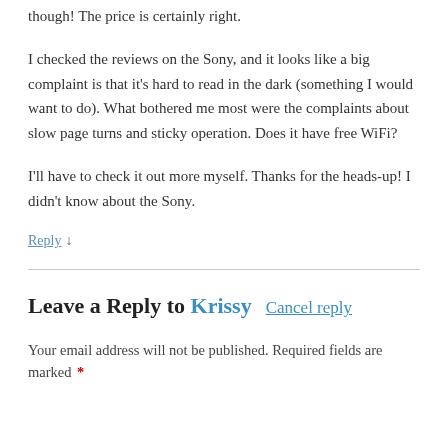though! The price is certainly right.
I checked the reviews on the Sony, and it looks like a big complaint is that it's hard to read in the dark (something I would want to do). What bothered me most were the complaints about slow page turns and sticky operation. Does it have free WiFi?
I'll have to check it out more myself. Thanks for the heads-up! I didn't know about the Sony.
Reply ↓
Leave a Reply to Krissy   Cancel reply
Your email address will not be published. Required fields are marked *